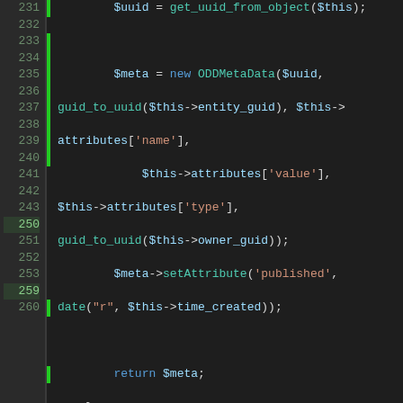[Figure (screenshot): PHP source code editor view showing lines 231-284, with syntax highlighting. Dark theme. Green bar markers on some lines. Code includes ODDMetaData object creation, setAttribute calls, and several public function definitions: getSystemLogID, getType, getSubtype, getURL.]